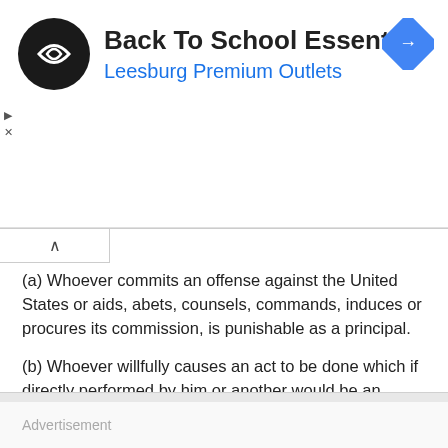[Figure (logo): Back To School Essentials advertisement banner for Leesburg Premium Outlets with circular logo and navigation diamond icon]
(a) Whoever commits an offense against the United States or aids, abets, counsels, commands, induces or procures its commission, is punishable as a principal.
(b) Whoever willfully causes an act to be done which if directly performed by him or another would be an offense against the United States, is punishable as a principal.
3
Miranda v. Arizona, 384 U.S. 436, 86 S.Ct. 1602, 16 L.Ed.2d 694 (1966)
Advertisement